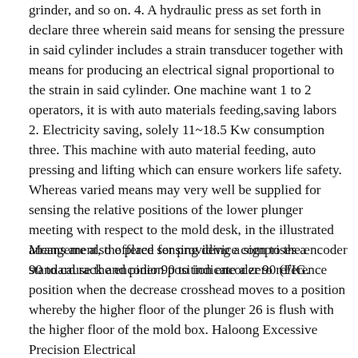grinder, and so on. 4. A hydraulic press as set forth in declare three wherein said means for sensing the pressure in said cylinder includes a strain transducer together with means for producing an electrical signal proportional to the strain in said cylinder. One machine want 1 to 2 operators, it is with auto materials feeding,saving labors 2. Electricity saving, solely 11~18.5 Kw consumption three. This machine with auto material feeding, auto pressing and lifting which can ensure workers life safety. Whereas varied means may very well be supplied for sensing the relative positions of the lower plunger meeting with respect to the mold desk, in the illustrated arrangement, the place sensing device comprises a standard rack and pinion position encoder 90 (FIG.
Means are also offered for providing a sign to the encoder 90 to cause the encoder 90 to indicate a zero reference position when the decrease crosshead moves to a position whereby the higher floor of the plunger 26 is flush with the higher floor of the mold box. Haloong Excessive Precision Electrical